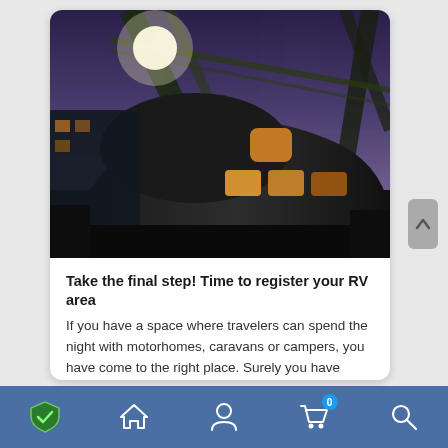[Figure (photo): Night scene of an RV or camper vehicle with illuminated windows, photographed at an angle under a purple/dusk sky with structural beams overhead and lights visible. A building or structure is visible in the background.]
Take the final step! Time to register your RV area
If you have a space where travelers can spend the night with motorhomes, caravans or campers, you have come to the right place. Surely you have already become a host of our platform. Are you